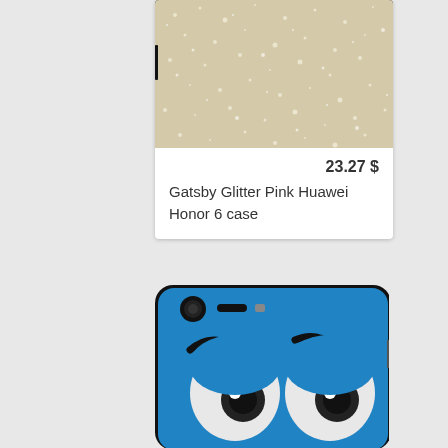[Figure (photo): Phone case product listing showing glitter pink phone case for Huawei Honor 6 - top portion with case image]
23.27 $
Gatsby Glitter Pink Huawei Honor 6 case
[Figure (photo): Blue phone case with cartoon character eyes design - second product listing, partially visible]